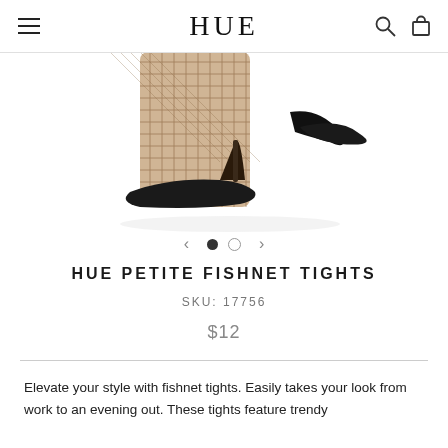HUE
[Figure (photo): Close-up of feet and lower legs wearing fishnet tights with black high-heel pointed-toe pumps against a white background]
HUE PETITE FISHNET TIGHTS
SKU: 17756
$12
Elevate your style with fishnet tights. Easily takes your look from work to an evening out. These tights feature trendy